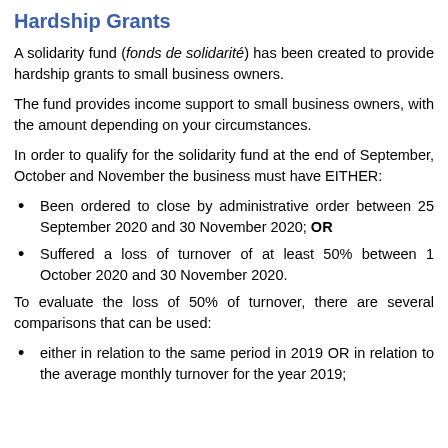Hardship Grants
A solidarity fund (fonds de solidarité) has been created to provide hardship grants to small business owners.
The fund provides income support to small business owners, with the amount depending on your circumstances.
In order to qualify for the solidarity fund at the end of September, October and November the business must have EITHER:
Been ordered to close by administrative order between 25 September 2020 and 30 November 2020; OR
Suffered a loss of turnover of at least 50% between 1 October 2020 and 30 November 2020.
To evaluate the loss of 50% of turnover, there are several comparisons that can be used:
either in relation to the same period in 2019 OR in relation to the average monthly turnover for the year 2019;